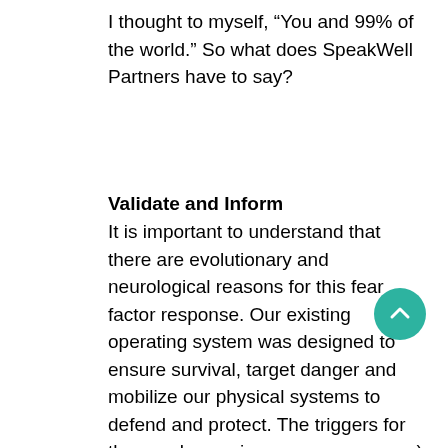I thought to myself, “You and 99% of the world.” So what does SpeakWell Partners have to say?
Validate and Inform
It is important to understand that there are evolutionary and neurological reasons for this fear factor response. Our existing operating system was designed to ensure survival, target danger and mobilize our physical systems to defend and protect. The triggers for these subconscious responses are a) physical exposure – alone, all eyes on you, b) crowds – more than 3 people together triggers “group” anxiety and c) stranger danger warnings. So, how do you keep cool and calm when the hard-